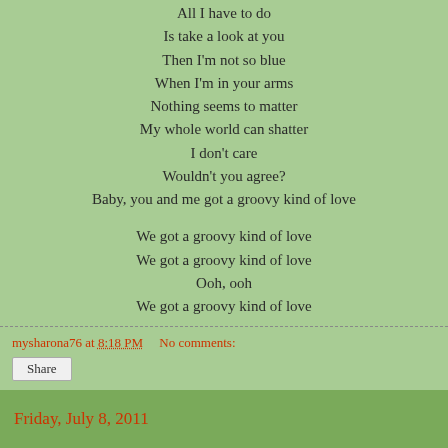All I have to do
Is take a look at you
Then I'm not so blue
When I'm in your arms
Nothing seems to matter
My whole world can shatter
I don't care
Wouldn't you agree?
Baby, you and me got a groovy kind of love

We got a groovy kind of love
We got a groovy kind of love
Ooh, ooh
We got a groovy kind of love
mysharona76 at 8:18 PM    No comments:
Share
Friday, July 8, 2011